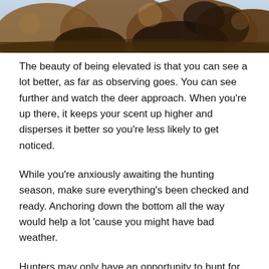[Figure (photo): A close-up outdoor photo of what appears to be a deer or animal in a rocky/earthy natural setting, partially cropped at the top of the page.]
The beauty of being elevated is that you can see a lot better, as far as observing goes. You can see further and watch the deer approach. When you're up there, it keeps your scent up higher and disperses it better so you're less likely to get noticed.
While you're anxiously awaiting the hunting season, make sure everything's been checked and ready. Anchoring down the bottom all the way would help a lot 'cause you might have bad weather.
Hunters may only have an opportunity to hunt for once or twice a year, but if the location of the box blind is good, you can hope to make big bucks or maybe somebody's first doe. Call or chat with us now so we can assist you in choosing and raising the best box blind and stand for you. Don't miss